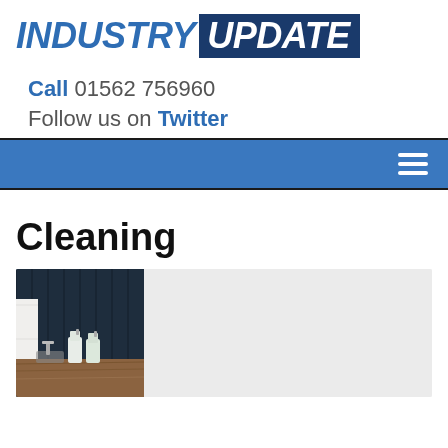INDUSTRY UPDATE
Call 01562 756960
Follow us on Twitter
[Figure (screenshot): Blue navigation bar with hamburger menu icon (three horizontal white lines) on the right side]
Cleaning
[Figure (photo): Photo of a dark navy kitchen with cleaning spray bottles on a wooden countertop beside a sink, with a white towel hanging on the cabinet door]